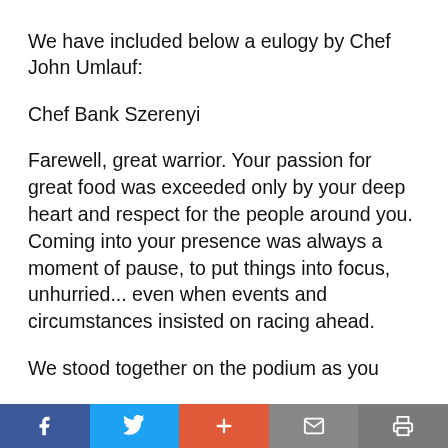We have included below a eulogy by Chef John Umlauf:
Chef Bank Szerenyi
Farewell, great warrior. Your passion for great food was exceeded only by your deep heart and respect for the people around you. Coming into your presence was always a moment of pause, to put things into focus, unhurried... even when events and circumstances insisted on racing ahead.
We stood together on the podium as you
f  t  +  mail  print